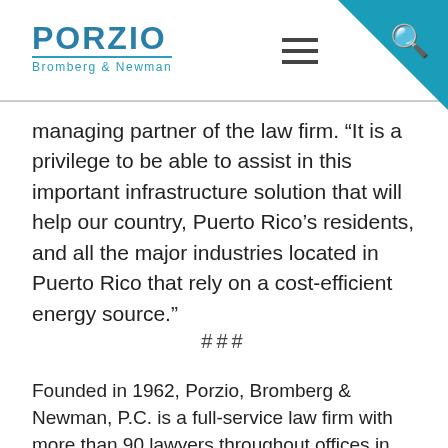[Figure (logo): Porzio Bromberg & Newman law firm logo with teal color scheme, hamburger menu icon, and search icon on teal triangle corner]
managing partner of the law firm. “It is a privilege to be able to assist in this important infrastructure solution that will help our country, Puerto Rico’s residents, and all the major industries located in Puerto Rico that rely on a cost-efficient energy source.”
###
Founded in 1962, Porzio, Bromberg & Newman, P.C. is a full-service law firm with more than 90 lawyers throughout offices in New York City; Washington, DC; Morristown, Ocean